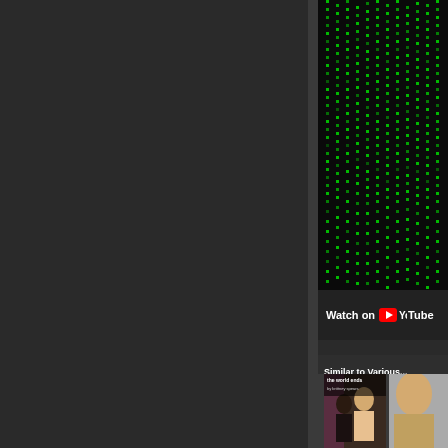[Figure (screenshot): Dark left panel of a webpage interface with dark gray background]
[Figure (screenshot): YouTube video thumbnail showing Matrix-style green digital rain/code waterfall effect]
Watch on YouTube
Similar to Various...
[Figure (photo): Album cover thumbnail showing 'The World Ends' with artists, featuring a woman with pink/blonde hair]